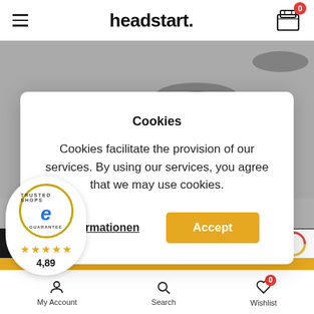headstart.
[Figure (photo): Product image on grey background - partially visible coffee/food product packaging]
Cookies
Cookies facilitate the provision of our services. By using our services, you agree that we may use cookies.
Informationen
Accept
excl. delivery
Add To Cart
[Figure (logo): Trusted Shops guarantee badge with blue e logo and gold star rating 4,89]
My Account  Search  Wishlist